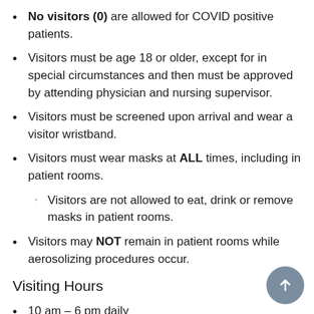No visitors (0) are allowed for COVID positive patients.
Visitors must be age 18 or older, except for in special circumstances and then must be approved by attending physician and nursing supervisor.
Visitors must be screened upon arrival and wear a visitor wristband.
Visitors must wear masks at ALL times, including in patient rooms.
Visitors are not allowed to eat, drink or remove masks in patient rooms.
Visitors may NOT remain in patient rooms while aerosolizing procedures occur.
Visiting Hours
10 am – 6 pm daily